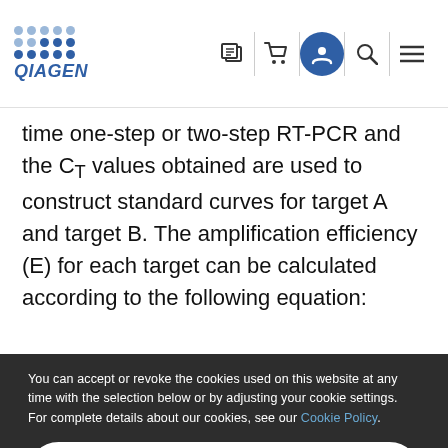[Figure (logo): QIAGEN logo with blue dot grid and brand name in blue italic text]
time one-step or two-step RT-PCR and the CT values obtained are used to construct standard curves for target A and target B. The amplification efficiency (E) for each target can be calculated according to the following equation:
You can accept or revoke the cookies used on this website at any time with the selection below or by adjusting your cookie settings. For complete details about our cookies, see our Cookie Policy.
Accept all
Customize
Only necessary